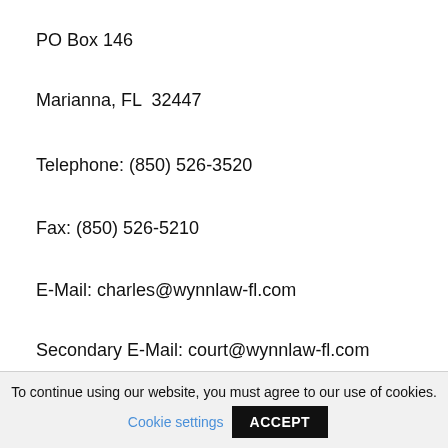PO Box 146
Marianna, FL  32447
Telephone: (850) 526-3520
Fax: (850) 526-5210
E-Mail: charles@wynnlaw-fl.com
Secondary E-Mail: court@wynnlaw-fl.com
Personal Representative:
To continue using our website, you must agree to our use of cookies. Cookie settings ACCEPT